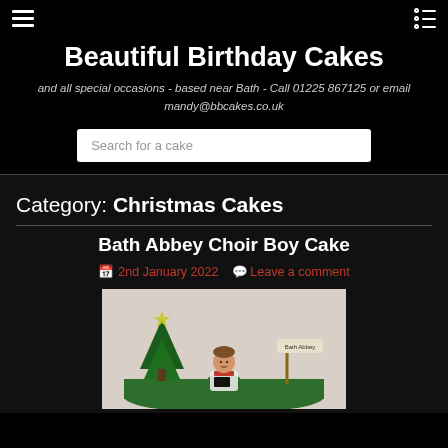Beautiful Birthday Cakes - and all special occasions - based near Bath - Call 01225 867125 or email mandy@bbcakes.co.uk
Beautiful Birthday Cakes
and all special occasions - based near Bath - Call 01225 867125 or email mandy@bbcakes.co.uk
Category: Christmas Cakes
Bath Abbey Choir Boy Cake
2nd January 2022  Leave a comment
[Figure (photo): Photo of a Bath Abbey Choir Boy cake with a fondant choir boy figure, Christmas tree, and a Bath Abbey signpost on a green cake base]